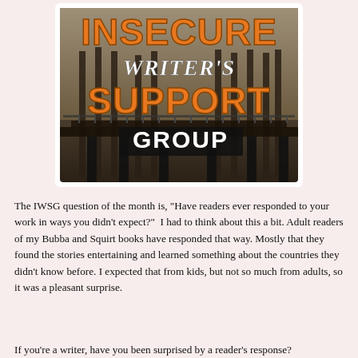[Figure (logo): Insecure Writer's Support Group logo — large orange block letters spelling INSECURE on top, italic script WRITER'S in white, SUPPORT in orange, and GROUP in bold white on a dark banner background with a building silhouette.]
The IWSG question of the month is, "Have readers ever responded to your work in ways you didn't expect?"  I had to think about this a bit. Adult readers of my Bubba and Squirt books have responded that way. Mostly that they found the stories entertaining and learned something about the countries they didn't know before. I expected that from kids, but not so much from adults, so it was a pleasant surprise.
If you're a writer, have you been surprised by a reader's response?